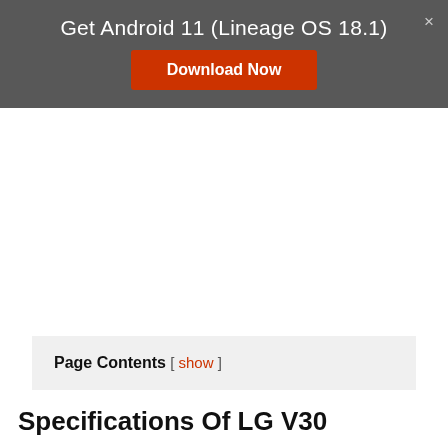Get Android 11 (Lineage OS 18.1)
Download Now
Page Contents [ show ]
Specifications Of LG V30